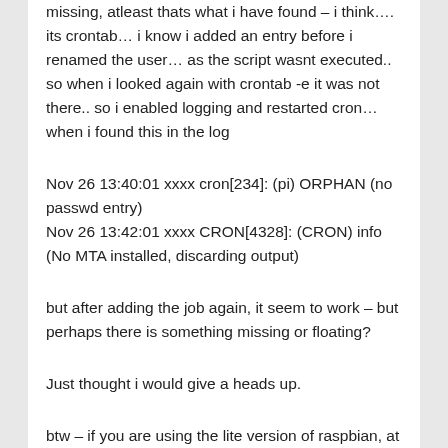missing, atleast thats what i have found – i think…. its crontab… i know i added an entry before i renamed the user… as the script wasnt executed.. so when i looked again with crontab -e it was not there.. so i enabled logging and restarted cron… when i found this in the log
Nov 26 13:40:01 xxxx cron[234]: (pi) ORPHAN (no passwd entry)
Nov 26 13:42:01 xxxx CRON[4328]: (CRON) info (No MTA installed, discarding output)
but after adding the job again, it seem to work – but perhaps there is something missing or floating?
Just thought i would give a heads up.
btw – if you are using the lite version of raspbian, at least thats what i hope is causing this… the following two files were not there – in fact lightdm folder does not exists at all, haynt checked the